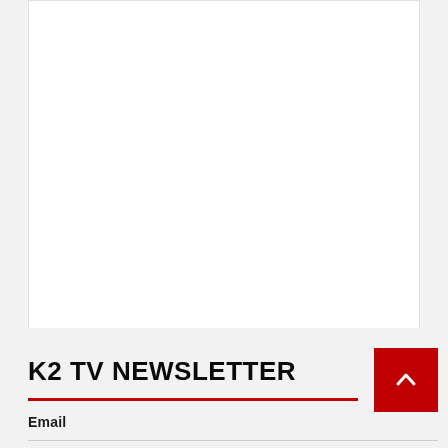[Figure (other): White content area / blank panel at top of page]
K2 TV NEWSLETTER
Email